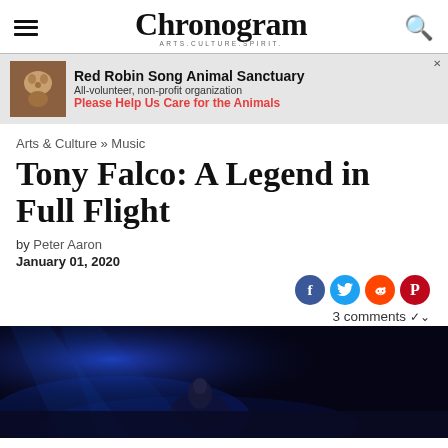Chronogram — ARTS.CULTURE.SPIRIT.
[Figure (infographic): Advertisement banner for Red Robin Song Animal Sanctuary showing an animal photo, headline, subtext, and call to action]
Arts & Culture » Music
Tony Falco: A Legend in Full Flight
by Peter Aaron
January 01, 2020
[Figure (infographic): Social sharing icons: Facebook, Twitter, Reddit, Pinterest and 3 comments with chevron]
[Figure (photo): Concert photo of Tony Falco performing on stage with blue lighting and fog effects]